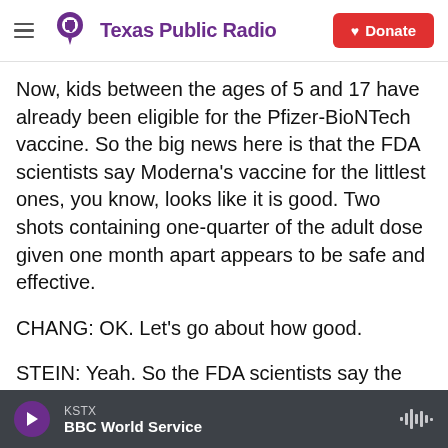Texas Public Radio | Donate
Now, kids between the ages of 5 and 17 have already been eligible for the Pfizer-BioNTech vaccine. So the big news here is that the FDA scientists say Moderna's vaccine for the littlest ones, you know, looks like it is good. Two shots containing one-quarter of the adult dose given one month apart appears to be safe and effective.
CHANG: OK. Let's go about how good.
STEIN: Yeah. So the FDA scientists say the Moderna shots stimulate the immune system just enough to protect kids as young as 6 months. And
KSTX | BBC World Service